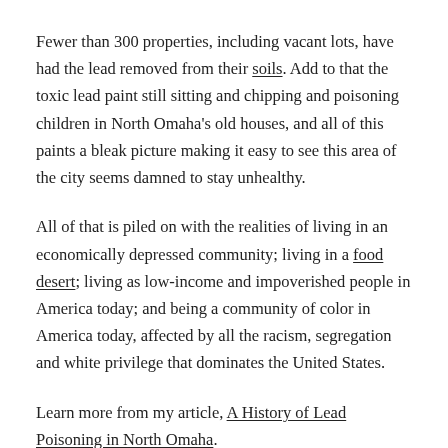Fewer than 300 properties, including vacant lots, have had the lead removed from their soils. Add to that the toxic lead paint still sitting and chipping and poisoning children in North Omaha's old houses, and all of this paints a bleak picture making it easy to see this area of the city seems damned to stay unhealthy.
All of that is piled on with the realities of living in an economically depressed community; living in a food desert; living as low-income and impoverished people in America today; and being a community of color in America today, affected by all the racism, segregation and white privilege that dominates the United States.
Learn more from my article, A History of Lead Poisoning in North Omaha.